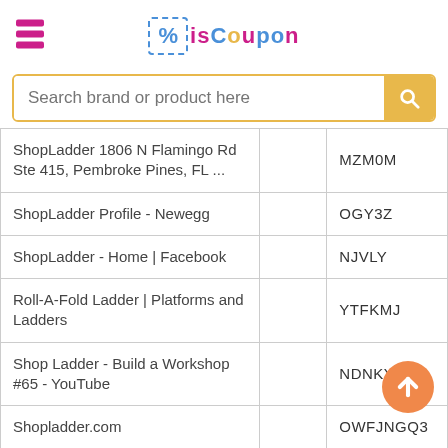isCoupon
Search brand or product here
| ShopLadder 1806 N Flamingo Rd Ste 415, Pembroke Pines, FL ... |  | MZM0M |
| ShopLadder Profile - Newegg |  | OGY3Z |
| ShopLadder - Home | Facebook |  | NJVLY |
| Roll-A-Fold Ladder | Platforms and Ladders |  | YTFKMJ |
| Shop Ladder - Build a Workshop #65 - YouTube |  | NDNKYW |
| Shopladder.com |  | OWFJNGQ3 |